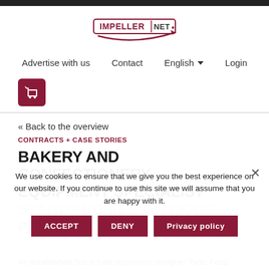[Figure (logo): IMPELLER.NET logo with swoosh graphic]
Advertise with us  Contact  English  Login
[Figure (illustration): Shopping cart icon in dark red rounded square]
« Back to the overview
CONTRACTS + CASE STORIES
BAKERY AND CONFECTIONERY EQUIPMENT SPECIALIST STANDARDISES ON QDOS PUMPS FOR FILLED CONFECTIONERY
We use cookies to ensure that we give you the best experience on our website. If you continue to use this site we will assume that you are happy with it.
17.05.2020
An established Dutch food equipment designer Tanis Food